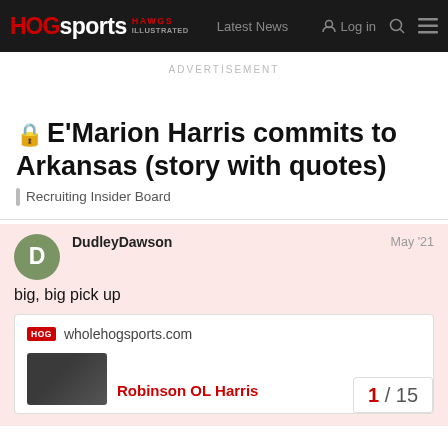HOG sports HAWGS ILLUSTRATED | Latest News | Log in
ADVERTISEMENT
🔒 E'Marion Harris commits to Arkansas (story with quotes)
Recruiting Insider Board
DudleyDawson  May '21
big, big pick up
HOG wholehogsports.com
Robinson OL Harris
1 / 15